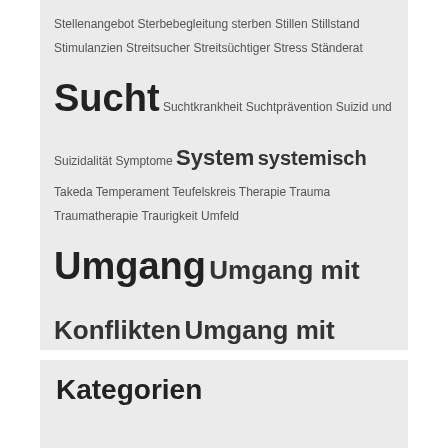Stellenangebot Sterbebegleitung sterben Stillen Stillstand Stimulanzien Streitsucher Streitsüchtiger Stress Ständerat Sucht Suchtkrankheit Suchtprävention Suizid und Suizidalität Symptome System systemisch Takeda Temperament Teufelskreis Therapie Trauma Traumatherapie Traurigkeit Umfeld Umgang Umgang mit Konflikten Umgang mit Migranten Universität Bremen Unterordnung Ursula VASK Verband Vereinigung Aargauischer Berufsbeiständinnen und -beistände Verhaltensmuster Versorgungskonzept Versteckte Kosten Vertiefungsarbeit Verwerfung Virus Vorgesetzte Vortrag Vorträge Wallbach weiblich Weiterbildung Wendepunkt Wesen WG Widerstand Wut Youtube Zentrum Karl der Grosse Zerreissprobe ZHAW Zusammenarbeit Zürich
Kategorien